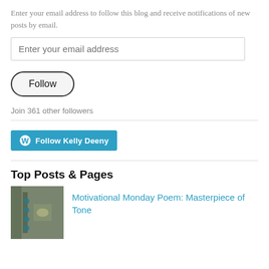Enter your email address to follow this blog and receive notifications of new posts by email.
[Figure (other): Email address text input field with placeholder text 'Enter your email address']
[Figure (other): Follow button with rounded border]
Join 361 other followers
[Figure (other): WordPress Follow Kelly Deeny button in teal/blue]
Top Posts & Pages
[Figure (photo): Thumbnail photo of a post]
Motivational Monday Poem: Masterpiece of Tone